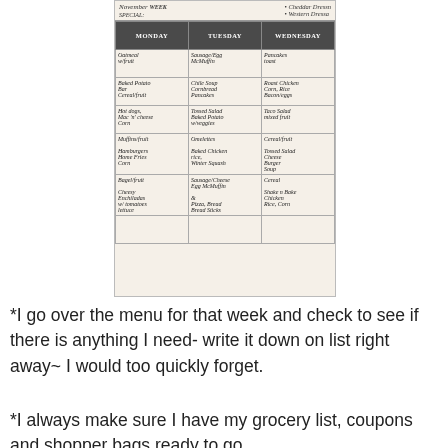[Figure (photo): A handwritten weekly meal plan calendar showing Monday, Tuesday, Wednesday columns with handwritten food items for breakfast, lunch, dinner and snacks. Header shows November with bullet points for Cheddar Dressing and Western Dressing.]
*I go over the menu for that week and check to see if there is anything I need- write it down on list right away~ I would too quickly forget.
*I always make sure I have my grocery list, coupons and shopper bags ready to go.